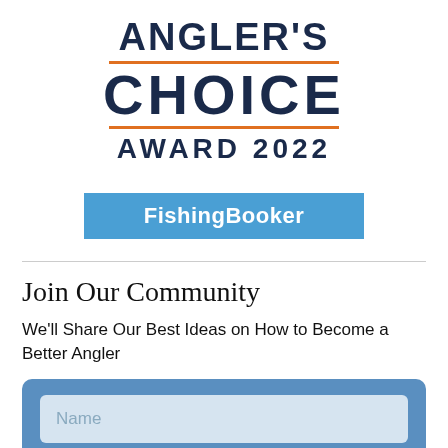[Figure (logo): Angler's Choice Award 2022 logo with FishingBooker badge. Dark navy text reading ANGLER'S / CHOICE / AWARD 2022 with orange horizontal lines above and below ANGLER'S and CHOICE. Blue rectangular button reading FishingBooker in white bold text.]
Join Our Community
We'll Share Our Best Ideas on How to Become a Better Angler
[Figure (other): Blue form area with a Name input field placeholder]